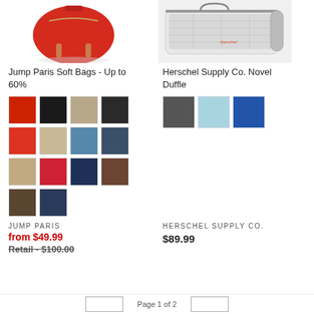[Figure (photo): Red backpack product photo (Jump Paris Soft Bags)]
[Figure (photo): Herschel Supply Co. Novel Duffle bag with black and white city print]
Jump Paris Soft Bags - Up to 60%
Herschel Supply Co. Novel Duffle
[Figure (photo): Color swatches grid for Jump Paris: red, black, tan, dark, red, tan/beige, blue, dark blue, tan, red, navy, brown, dark brown, navy denim]
[Figure (photo): Color swatches for Herschel: black/white print, light blue, blue]
JUMP PARIS
HERSCHEL SUPPLY CO.
from $49.99
Retail - $100.00
$89.99
Page 1 of 2